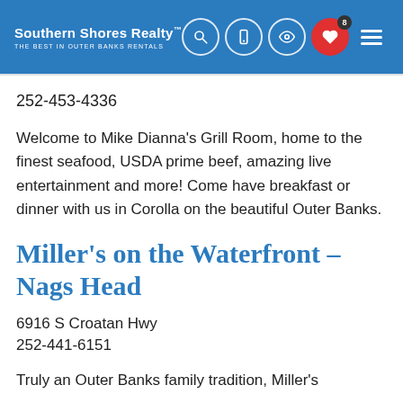Southern Shores Realty – THE BEST IN OUTER BANKS RENTALS
252-453-4336
Welcome to Mike Dianna's Grill Room, home to the finest seafood, USDA prime beef, amazing live entertainment and more! Come have breakfast or dinner with us in Corolla on the beautiful Outer Banks.
Miller's on the Waterfront – Nags Head
6916 S Croatan Hwy
252-441-6151
Truly an Outer Banks family tradition, Miller's